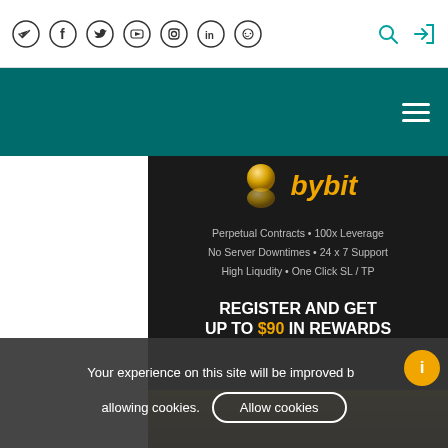Social nav icons: Telegram, Facebook, Twitter, YouTube, Instagram, LinkedIn, Reddit; Search and Login icons
[Figure (screenshot): Teal navigation banner with hamburger menu icon on the right]
[Figure (screenshot): Bybit cryptocurrency exchange advertisement banner on dark background. Shows Bybit logo with golden coin icon. Text: Perpetual Contracts • 100x Leverage / No Server Downtimes • 24 x 7 Support / High Liqudity • One Click SL / TP. Call to action: REGISTER AND GET UP TO $90 IN REWARDS]
Your experience on this site will be improved by allowing cookies.
Allow cookies